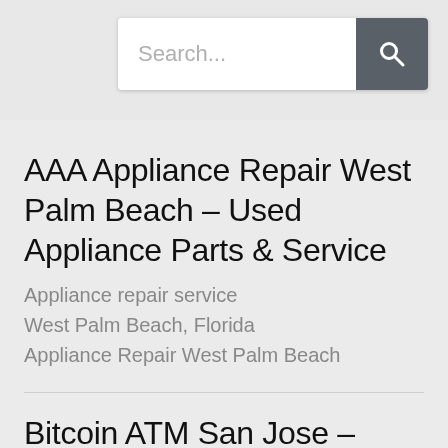[Figure (screenshot): Search bar with placeholder text 'Search...' and a dark grey search button with magnifying glass icon]
AAA Appliance Repair West Palm Beach – Used Appliance Parts & Service
Appliance repair service
West Palm Beach, Florida
Appliance Repair West Palm Beach
Bitcoin ATM San Jose – Coinhub
ATM
San Jose, CA